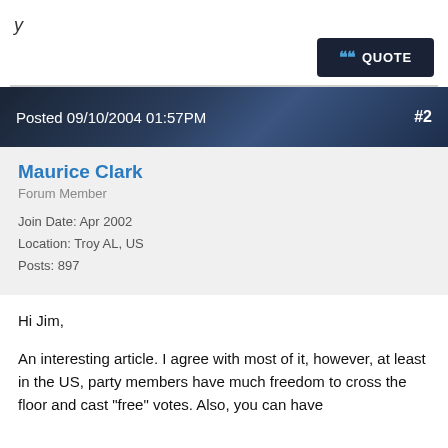y
❝ QUOTE
Posted 09/10/2004 01:57PM   #2
Maurice Clark
Forum Member

Join Date: Apr 2002
Location: Troy AL, US
Posts: 897
Hi Jim,

An interesting article. I agree with most of it, however, at least in the US, party members have much freedom to cross the floor and cast "free" votes. Also, you can have